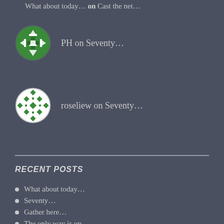What about today… on Cast the net…
PH on Seventy…
roseliew on Seventy…
RECENT POSTS
What about today…
Seventy…
Gather here…
The only way is up…
Not like mine…